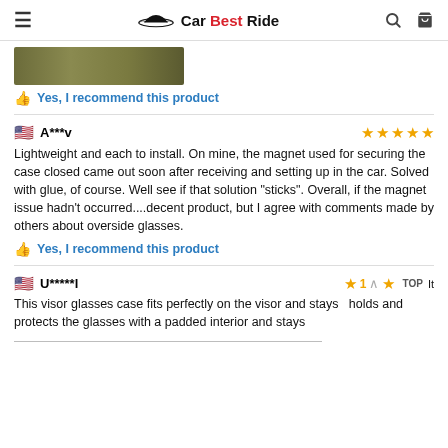Car Best Ride
[Figure (photo): Partial image of a product, greenish/olive colored strip visible at top]
Yes, I recommend this product
A***v — 5 stars
Lightweight and each to install. On mine, the magnet used for securing the case closed came out soon after receiving and setting up in the car. Solved with glue, of course. Well see if that solution "sticks". Overall, if the magnet issue hadn't occurred....decent product, but I agree with comments made by others about overside glasses.
Yes, I recommend this product
U*****l — 1 star
This visor glasses case fits perfectly on the visor and stays holds and protects the glasses with a padded interior and stays